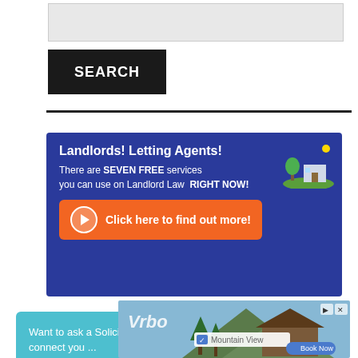[Figure (screenshot): Search input box (grey rectangle)]
SEARCH
[Figure (infographic): Landlords! Letting Agents! advertisement banner with dark blue background. Text: There are SEVEN FREE services you can use on Landlord Law RIGHT NOW! Orange CTA button: Click here to find out more!]
[Figure (screenshot): Chat widget: Want to ask a Solicitor online now? I can connect you ... with avatar and notification badge showing 1]
[Figure (screenshot): Vrbo advertisement banner showing a mountain lodge with Mountain View search field and Book Now button]